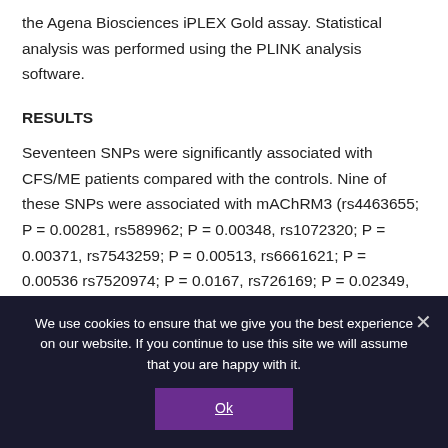the Agena Biosciences iPLEX Gold assay. Statistical analysis was performed using the PLINK analysis software.
RESULTS
Seventeen SNPs were significantly associated with CFS/ME patients compared with the controls. Nine of these SNPs were associated with mAChRM3 (rs4463655; P = 0.00281, rs589962; P = 0.00348, rs1072320; P = 0.00371, rs7543259; P = 0.00513, rs6661621; P = 0.00536 rs7520974; P = 0.0167, rs726169; P = 0.02349, rsrs6669810; P = 0.02361, rsrs6429157; P = 0.0375), while the remainder were
We use cookies to ensure that we give you the best experience on our website. If you continue to use this site we will assume that you are happy with it.